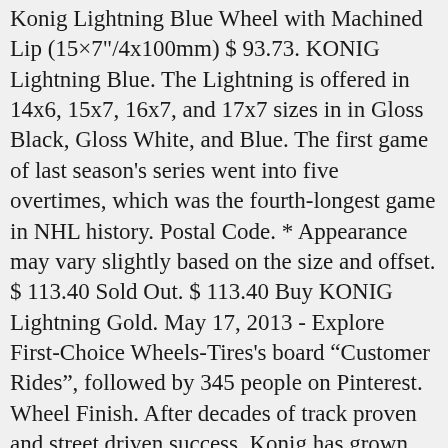Konig Lightning Blue Wheel with Machined Lip (15×7"/4x100mm) $ 93.73. KONIG Lightning Blue. The Lightning is offered in 14x6, 15x7, 16x7, and 17x7 sizes in in Gloss Black, Gloss White, and Blue. The first game of last season's series went into five overtimes, which was the fourth-longest game in NHL history. Postal Code. * Appearance may vary slightly based on the size and offset. $ 113.40 Sold Out. $ 113.40 Buy KONIG Lightning Gold. May 17, 2013 - Explore First-Choice Wheels-Tires's board "Customer Rides", followed by 345 people on Pinterest. Wheel Finish. After decades of track proven and street driven success, Konig has grown ... Lightning Blue is available in 15 inch size with Konig center cap. Freeform 100 Radium Bronze. Konig Helium 72B Wheel 15x6.5 4x100 Black 40mm Off... $100.07 $90.97. Change Tires. The KONIG LIGHTNING BLUE rims are also offered in a number of bolt patterns and offsets to ensure proper fitment on your vehicle. SpinSonic Multi-Function Car